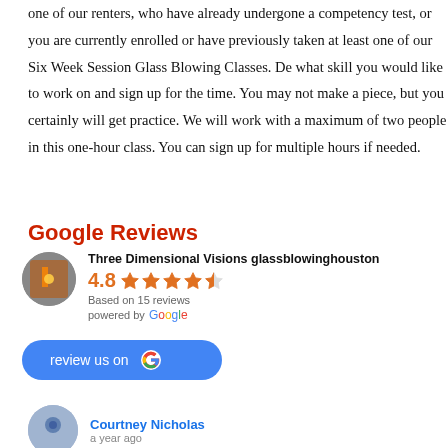one of our renters, who have already undergone a competency test, or you are currently enrolled or have previously taken at least one of our Six Week Session Glass Blowing Classes. Decide what skill you would like to work on and sign up for the time. You may not make a piece, but you certainly will get practice. We will work with a maximum of two people in this one-hour class. You can sign up for multiple hours if needed.
Google Reviews
[Figure (other): Google Reviews widget showing Three Dimensional Visions glassblowinghouston with 4.8 stars rating based on 15 reviews, powered by Google, with a review us on Google button]
Courtney Nicholas
a year ago